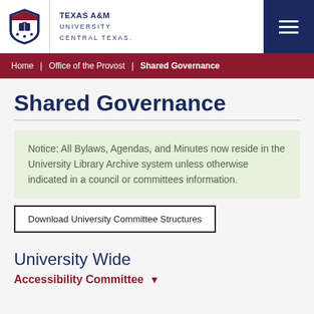[Figure (logo): Texas A&M University Central Texas logo with university seal and text]
Home | Office of the Provost | Shared Governance
Shared Governance
Notice: All Bylaws, Agendas, and Minutes now reside in the University Library Archive system unless otherwise indicated in a council or committees information.
Download University Committee Structures
University Wide
Accessibility Committee ▼